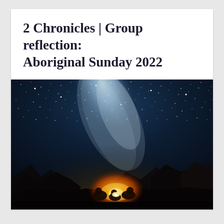2 Chronicles | Group reflection: Aboriginal Sunday 2022
[Figure (photo): Night sky photograph showing the Milky Way galaxy over a rocky desert landscape. People are gathered around a glowing campfire in the lower center of the image, silhouetted against the warm firelight. The sky is filled with stars and the bright band of the Milky Way dominates the upper portion in shades of blue, purple, and white.]